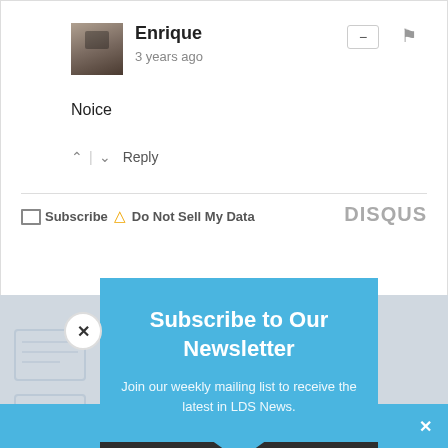Enrique
3 years ago
Noice
^ | ∨  Reply
✉ Subscribe  ⚠ Do Not Sell My Data   DISQUS
[Figure (screenshot): Newsletter subscription modal popup with blue header reading 'Subscribe to Our Newsletter', subtitle 'Join our weekly mailing list to receive the latest in LDS News.', email input field, and red subscribe button. Close X button top-left. Dark body section below blue header.]
Email
SUBSCRIBE!
Share This ∨